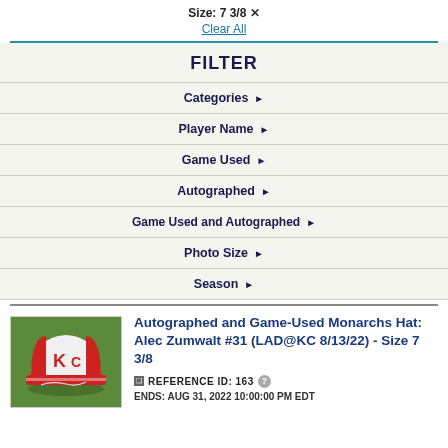Size: 7 3/8 ✕
Clear All
FILTER
Categories ▶
Player Name ▶
Game Used ▶
Autographed ▶
Game Used and Autographed ▶
Photo Size ▶
Season ▶
Autographed and Game-Used Monarchs Hat: Alec Zumwalt #31 (LAD@KC 8/13/22) - Size 7 3/8
❑ REFERENCE ID: 163 ?
ENDS: AUG 31, 2022 10:00:00 PM EDT
[Figure (photo): Photo of a red and white Kansas City Monarchs baseball cap autographed by Alec Zumwalt, displayed on grass]